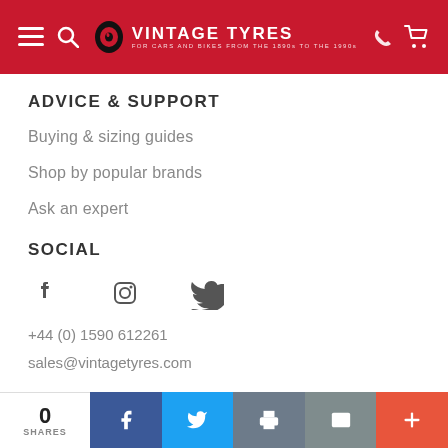VINTAGE TYRES — For cars and bikes from the 1890s to the 1990s
ADVICE & SUPPORT
Buying & sizing guides
Shop by popular brands
Ask an expert
SOCIAL
[Figure (infographic): Social media icons: Facebook, Instagram, Twitter]
+44 (0) 1590 612261
sales@vintagetyres.com
0 SHARES — Share buttons: Facebook, Twitter, Print, Email, Plus